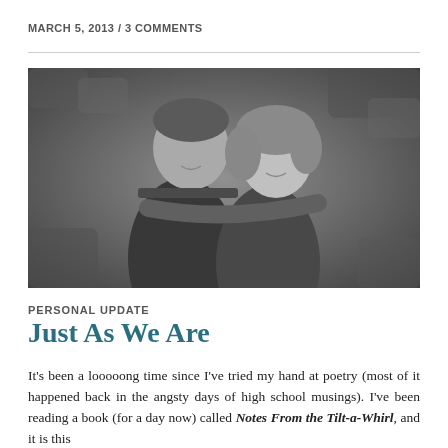MARCH 5, 2013 / 3 COMMENTS
[Figure (photo): Black and white photograph of a couple embracing and smiling, standing in front of a leafy background. A man stands behind a woman with his arms around her.]
PERSONAL UPDATE
Just As We Are
It's been a looooong time since I've tried my hand at poetry (most of it happened back in the angsty days of high school musings). I've been reading a book (for a day now) called Notes From the Tilt-a-Whirl, and it is this